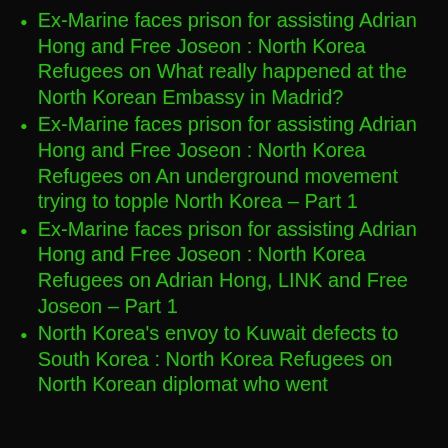Ex-Marine faces prison for assisting Adrian Hong and Free Joseon : North Korea Refugees on What really happened at the North Korean Embassy in Madrid?
Ex-Marine faces prison for assisting Adrian Hong and Free Joseon : North Korea Refugees on An underground movement trying to topple North Korea – Part 1
Ex-Marine faces prison for assisting Adrian Hong and Free Joseon : North Korea Refugees on Adrian Hong, LINK and Free Joseon – Part 1
North Korea's envoy to Kuwait defects to South Korea : North Korea Refugees on North Korean diplomat who went